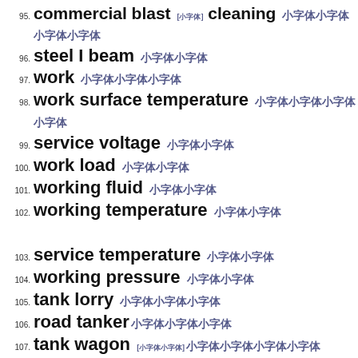95. commercial blast [xxxxxxx] cleaning xxxxxxxx
96. steel I beam xxx
97. work xxxxx
98. work surface temperature xxxxxxx
99. service voltage xxxx
100. work load xxxx
101. working fluid xxxx
102. working temperature xxxx
103. service temperature xxxx
104. working pressure xxxx
105. tank lorry xxxxxxx
106. road tankerxxxxxx
107. tank wagon [xxxxxxx]xxxxxxxx
108. tolerance xx